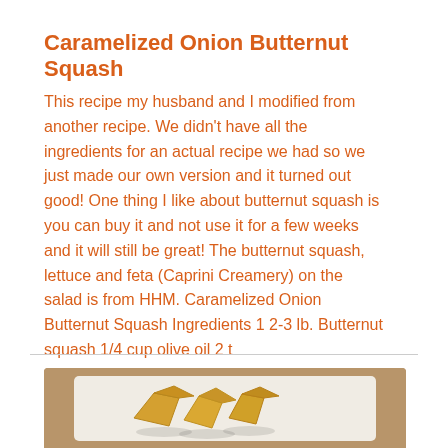Caramelized Onion Butternut Squash
This recipe my husband and I modified from another recipe. We didn't have all the ingredients for an actual recipe we had so we just made our own version and it turned out good! One thing I like about butternut squash is you can buy it and not use it for a few weeks and it will still be great! The butternut squash, lettuce and feta (Caprini Creamery) on the salad is from HHM. Caramelized Onion Butternut Squash Ingredients 1 2-3 lb. Butternut squash 1/4 cup olive oil 2 t
[Figure (photo): Photo of caramelized onion butternut squash pieces on a white plate, set on a wooden surface, partially cropped at bottom of page]